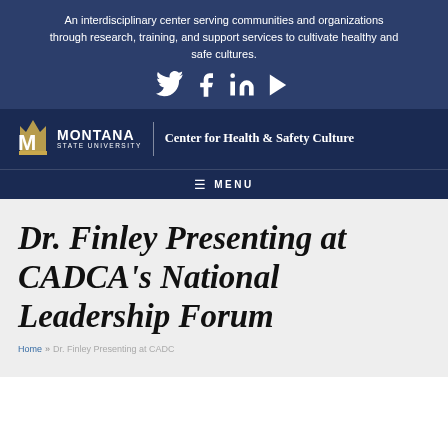An interdisciplinary center serving communities and organizations through research, training, and support services to cultivate healthy and safe cultures.
[Figure (other): Social media icons: Twitter, Facebook, LinkedIn, YouTube — white on dark blue background]
[Figure (logo): Montana State University logo with M emblem and text, followed by a vertical divider and 'Center for Health & Safety Culture' text in white on dark navy background]
≡ MENU
Dr. Finley Presenting at CADCA's National Leadership Forum
Home » Dr. Finley Presenting at CADCA's National Leadership Forum